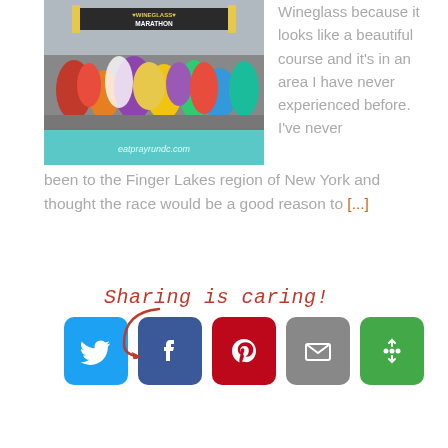[Figure (photo): Crowd of runners at the start of the Wineglass Marathon, with a banner overhead reading 'WINEGLASS MARATHON'. The bottom of the image has a teal strip with text 'eatprayrundc.com'.]
Wineglass because it looks like a beautiful course and it's in an area I have never experienced before. I've never been to the Finger Lakes region of New York and thought the race would be a good reason to [...]
[Figure (infographic): Sharing is caring! section with social sharing buttons for Twitter, Facebook, Pinterest, Email, and More. A red cursive 'Sharing is caring!' label with arrow pointing to the buttons.]